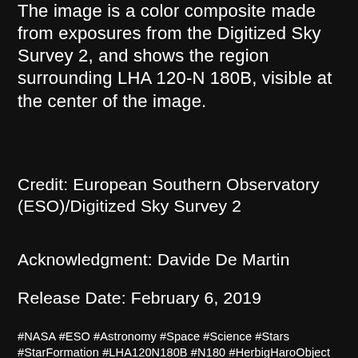The image is a color composite made from exposures from the Digitized Sky Survey 2, and shows the region surrounding LHA 120-N 180B, visible at the center of the image.
Credit: European Southern Observatory (ESO)/Digitized Sky Survey 2
Acknowledgment: Davide De Martin
Release Date: February 6, 2019
#NASA #ESO #Astronomy #Space #Science #Stars #StarFormation #LHA120N180B #N180 #HerbigHaroObject